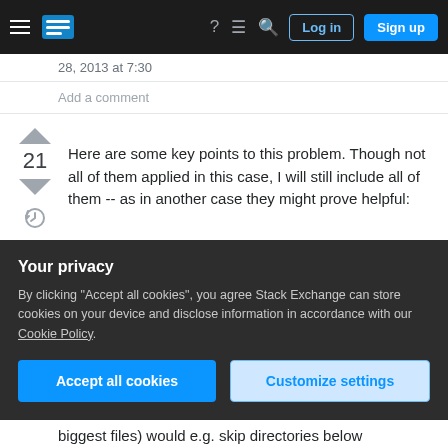Stack Exchange navigation bar with Log in and Sign up buttons
28, 2013 at 7:30
Add a comment
Here are some key points to this problem. Though not all of them applied in this case, I will still include all of them -- as in another case they might prove helpful:
A good starting point to check is apps -> manage apps in Androids system menu, which
Your privacy
By clicking "Accept all cookies", you agree Stack Exchange can store cookies on your device and disclose information in accordance with our Cookie Policy.
biggest files) would e.g. skip directories below